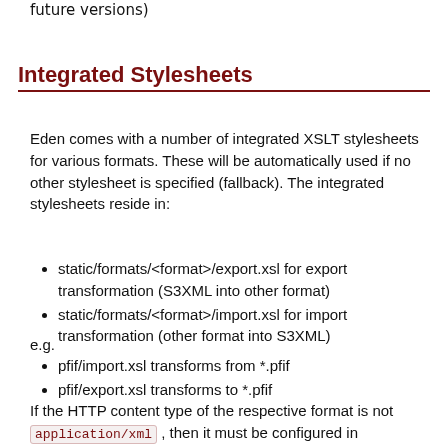future versions)
Integrated Stylesheets
Eden comes with a number of integrated XSLT stylesheets for various formats. These will be automatically used if no other stylesheet is specified (fallback). The integrated stylesheets reside in:
static/formats/<format>/export.xsl for export transformation (S3XML into other format)
static/formats/<format>/import.xsl for import transformation (other format into S3XML)
e.g.
pfif/import.xsl transforms from *.pfif
pfif/export.xsl transforms to *.pfif
If the HTTP content type of the respective format is not application/xml , then it must be configured in models/00_settings.py (see there).